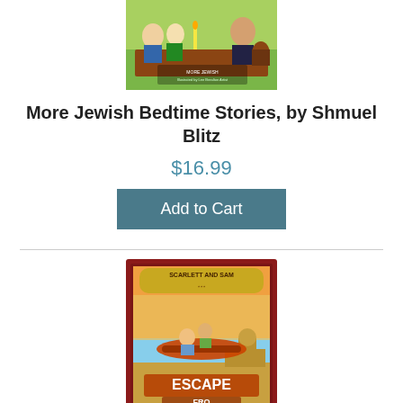[Figure (illustration): Book cover of 'More Jewish Bedtime Stories' showing illustrated children and adults at a table, colorful scene]
More Jewish Bedtime Stories, by Shmuel Blitz
$16.99
Add to Cart
[Figure (illustration): Book cover of 'Scarlett and Sam: Escape From...' showing two children riding on a flying carpet over a desert scene with sphinx, with dark red border frame]